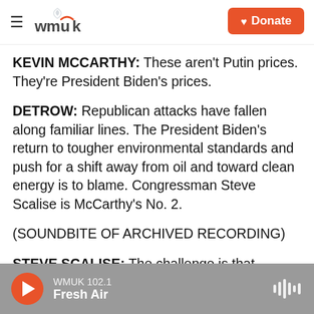WMUK [logo] | Donate
KEVIN MCCARTHY: These aren't Putin prices. They're President Biden's prices.
DETROW: Republican attacks have fallen along familiar lines. The President Biden's return to tougher environmental standards and push for a shift away from oil and toward clean energy is to blame. Congressman Steve Scalise is McCarthy's No. 2.
(SOUNDBITE OF ARCHIVED RECORDING)
STEVE SCALISE: The challenge is that President Biden still won't say yes to American energy
WMUK 102.1 | Fresh Air